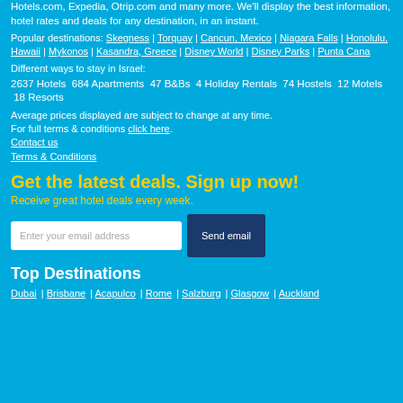Hotels.com, Expedia, Otrip.com and many more. We'll display the best information, hotel rates and deals for any destination, in an instant.
Popular destinations: Skegness | Torquay | Cancun, Mexico | Niagara Falls | Honolulu, Hawaii | Mykonos | Kasandra, Greece | Disney World | Disney Parks | Punta Cana
Different ways to stay in Israel:
2637 Hotels  684 Apartments  47 B&Bs  4 Holiday Rentals  74 Hostels  12 Motels  18 Resorts
Average prices displayed are subject to change at any time.
For full terms & conditions click here.
Contact us
Terms & Conditions
Get the latest deals. Sign up now!
Receive great hotel deals every week.
Enter your email address  Send email
Top Destinations
Dubai | Brisbane | Acapulco | Rome | Salzburg | Glasgow | Auckland